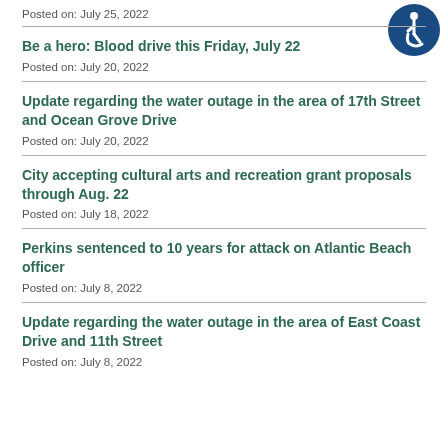Posted on: July 25, 2022
[Figure (illustration): Blue circle accessibility icon with wheelchair user symbol]
Be a hero: Blood drive this Friday, July 22
Posted on: July 20, 2022
Update regarding the water outage in the area of 17th Street and Ocean Grove Drive
Posted on: July 20, 2022
City accepting cultural arts and recreation grant proposals through Aug. 22
Posted on: July 18, 2022
Perkins sentenced to 10 years for attack on Atlantic Beach officer
Posted on: July 8, 2022
Update regarding the water outage in the area of East Coast Drive and 11th Street
Posted on: July 8, 2022